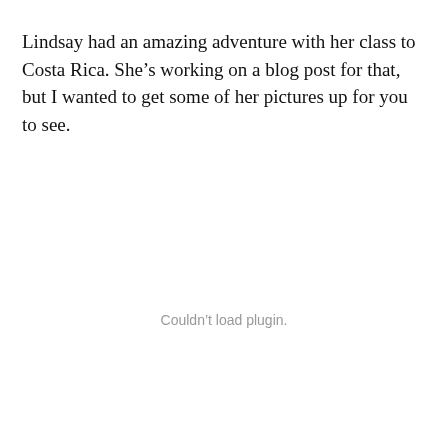Lindsay had an amazing adventure with her class to Costa Rica. She’s working on a blog post for that, but I wanted to get some of her pictures up for you to see.
[Figure (other): Couldn’t load plugin. Placeholder area where a media plugin (photo slideshow or embed) failed to load.]